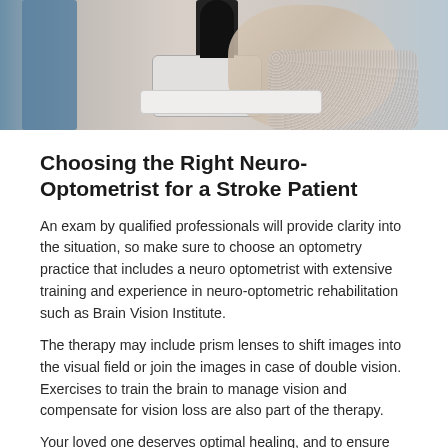[Figure (photo): A slit-lamp eye examination in progress, showing a patient being examined with an ophthalmic device. A medical professional or patient sits behind the instrument in a clinic setting.]
Choosing the Right Neuro-Optometrist for a Stroke Patient
An exam by qualified professionals will provide clarity into the situation, so make sure to choose an optometry practice that includes a neuro optometrist with extensive training and experience in neuro-optometric rehabilitation such as Brain Vision Institute.
The therapy may include prism lenses to shift images into the visual field or join the images in case of double vision. Exercises to train the brain to manage vision and compensate for vision loss are also part of the therapy.
Your loved one deserves optimal healing, and to ensure this, rehabilitative vision therapy should be part of the overall treatment plan. If he or she is already undergoing physical or occupational therapy, consider adding neuro-optometric rehabilitation for a more holistic approach and better results.